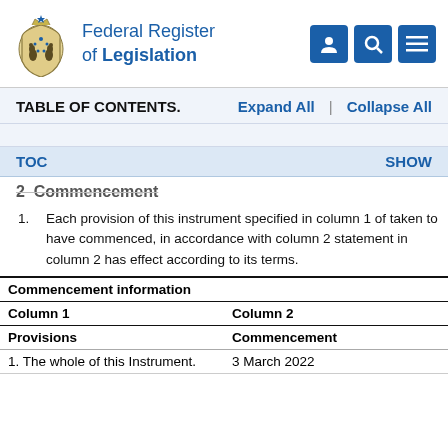Federal Register of Legislation
TABLE OF CONTENTS.  Expand All  |  Collapse All
TOC  SHOW
2  Commencement
1.  Each provision of this instrument specified in column 1 of taken to have commenced, in accordance with column 2 statement in column 2 has effect according to its terms.
| Commencement information |  |
| --- | --- |
| Column 1 | Column 2 |
| Provisions | Commencement |
| 1. The whole of this Instrument. | 3 March 2022 |